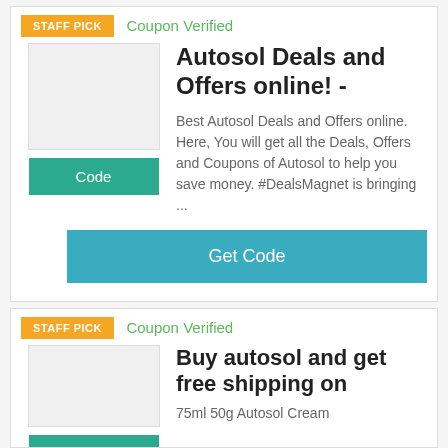[Figure (screenshot): Card 1: Staff pick badge, Coupon Verified label, product image placeholder, Code button, deal title, description, and Get Code button]
STAFF PICK
Coupon Verified
Autosol Deals and Offers online! -
Best Autosol Deals and Offers online. Here, You will get all the Deals, Offers and Coupons of Autosol to help you save money. #DealsMagnet is bringing ...
Get Code
[Figure (screenshot): Card 2: Staff pick badge, Coupon Verified label, product image placeholder, deal title for free shipping]
STAFF PICK
Coupon Verified
Buy autosol and get free shipping on
75ml 50g Autosol Cream